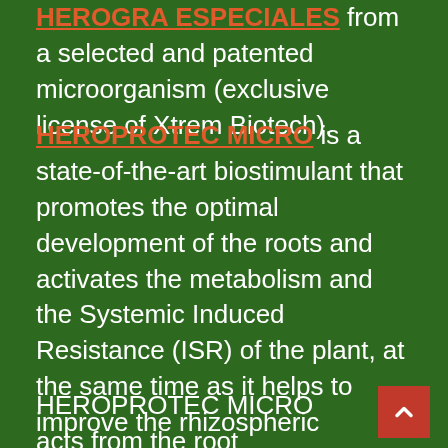HEROGRA ESPECIALES from a selected and patented microorganism (exclusive license of Xtrem Biotech).
HEROPROTEC MICRO is a state-of-the-art biostimulant that promotes the optimal development of the roots and activates the metabolism and the Systemic Induced Resistance (ISR) of the plant, at the same time as it helps to improve the rhizospheric environment and the assimilation of nutrients.
HEROPROTEC MICRO acts from the root activating the energetic